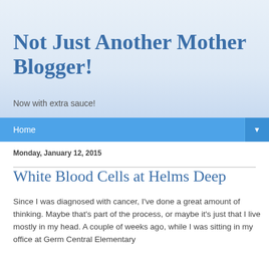Not Just Another Mother Blogger!
Now with extra sauce!
Home
Monday, January 12, 2015
White Blood Cells at Helms Deep
Since I was diagnosed with cancer, I've done a great amount of thinking.  Maybe that's part of the process, or maybe it's just that I live mostly in my head.  A couple of weeks ago, while I was sitting in my office at Germ Central Elementary